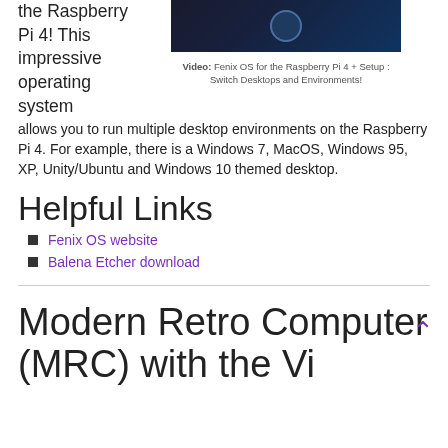the Raspberry Pi 4! This impressive operating system allows you to run multiple desktop environments on the Raspberry Pi 4. For example, there is a Windows 7, MacOS, Windows 95, XP, Unity/Ubuntu and Windows 10 themed desktop.
[Figure (screenshot): Video thumbnail showing Fenix OS on Raspberry Pi 4 with dark background and circuit board imagery]
Video: Fenix OS for the Raspberry Pi 4 + Setup : Switch Desktops and Environments!
Helpful Links
Fenix OS website
Balena Etcher download
Modern Retro Computer (MRC) with the Vi